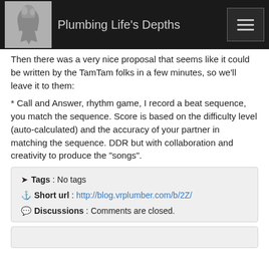Plumbing Life's Depths
Then there was a very nice proposal that seems like it could be written by the TamTam folks in a few minutes, so we'll leave it to them:
* Call and Answer, rhythm game, I record a beat sequence, you match the sequence. Score is based on the difficulty level (auto-calculated) and the accuracy of your partner in matching the sequence. DDR but with collaboration and creativity to produce the "songs".
Tags : No tags
Short url : http://blog.vrplumber.com/b/2Z/
Discussions : Comments are closed.